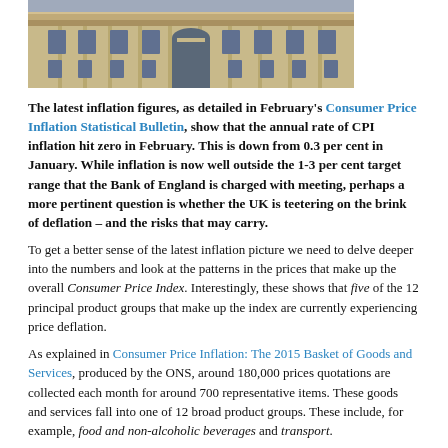[Figure (photo): Exterior facade of a grand stone building, likely the Bank of England or similar government/financial institution, showing ornate architecture with windows and arched entrance.]
The latest inflation figures, as detailed in February's Consumer Price Inflation Statistical Bulletin, show that the annual rate of CPI inflation hit zero in February. This is down from 0.3 per cent in January. While inflation is now well outside the 1-3 per cent target range that the Bank of England is charged with meeting, perhaps a more pertinent question is whether the UK is teetering on the brink of deflation – and the risks that may carry.
To get a better sense of the latest inflation picture we need to delve deeper into the numbers and look at the patterns in the prices that make up the overall Consumer Price Index. Interestingly, these shows that five of the 12 principal product groups that make up the index are currently experiencing price deflation.
As explained in Consumer Price Inflation: The 2015 Basket of Goods and Services, produced by the ONS, around 180,000 prices quotations are collected each month for around 700 representative items. These goods and services fall into one of 12 broad product groups. These include, for example, food and non-alcoholic beverages and transport.
The items included in each of the 12 product groups are reviewed once a year so that the chosen items remain representative of today's spending patterns. Around the review is also updated for the 12 broad categories in